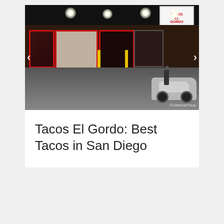[Figure (photo): Nighttime exterior photo of Tacos El Gordo restaurant. Dark facade with red-framed windows, spotlights illuminating the building exterior, yellow safety poles in the parking lot, a car parked to the right, and a person visible near the entrance. The restaurant sign 'Tacos El Gordo' is visible in the top right corner. Watermark reads '©CaliforniaThou...' in the bottom right. Navigation arrows visible on left and right sides of the image.]
Tacos El Gordo: Best Tacos in San Diego